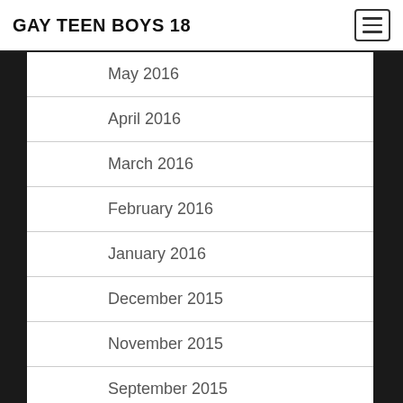GAY TEEN BOYS 18
May 2016
April 2016
March 2016
February 2016
January 2016
December 2015
November 2015
September 2015
August 2015
July 2015